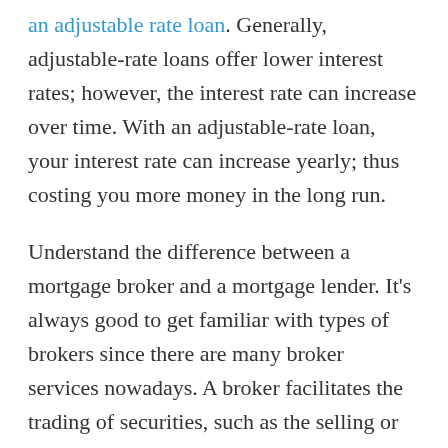an adjustable rate loan. Generally, adjustable-rate loans offer lower interest rates; however, the interest rate can increase over time. With an adjustable-rate loan, your interest rate can increase yearly; thus costing you more money in the long run.
Understand the difference between a mortgage broker and a mortgage lender. It's always good to get familiar with types of brokers since there are many broker services nowadays. A broker facilitates the trading of securities, such as the selling or buying of stocks for investment. A prime brokerage is a large institution that provides many services, from cash management to risk management, for other large institutions. Understand the difference between a broker and a lender. There is